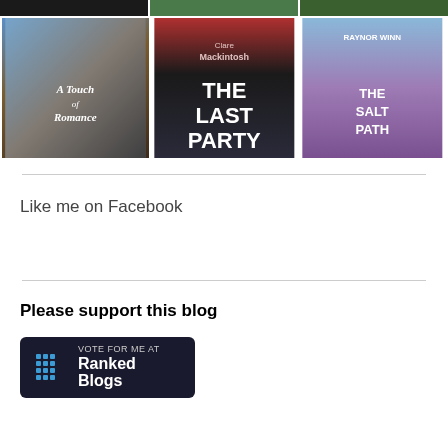[Figure (photo): Top strip of three photo thumbnails (dark, greenery)]
[Figure (photo): Three book covers in a row: 'A Touch of Romance', 'The Last Party' by Clare Mackintosh, 'The Salt Path' by Raynor Winn]
Like me on Facebook
Please support this blog
[Figure (logo): Vote For Me At Ranked Blogs button - dark background with blue grid icon]